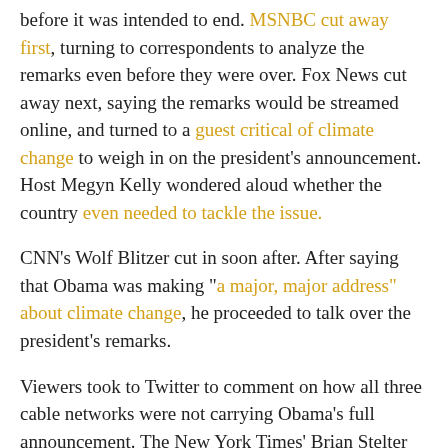before it was intended to end. MSNBC cut away first, turning to correspondents to analyze the remarks even before they were over. Fox News cut away next, saying the remarks would be streamed online, and turned to a guest critical of climate change to weigh in on the president's announcement. Host Megyn Kelly wondered aloud whether the country even needed to tackle the issue.
CNN's Wolf Blitzer cut in soon after. After saying that Obama was making "a major, major address" about climate change, he proceeded to talk over the president's remarks.
Viewers took to Twitter to comment on how all three cable networks were not carrying Obama's full announcement. The New York Times' Brian Stelter tweeted that viewers could watch Obama's climate change speech on one cable network that was airing the announcement in its entirety—The Weather Channel.